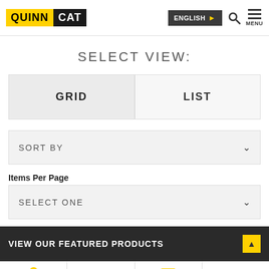[Figure (logo): Quinn Cat logo: QUINN in yellow background, CAT in black background]
ENGLISH
SELECT VIEW:
GRID
LIST
SORT BY
Items Per Page
SELECT ONE
VIEW OUR FEATURED PRODUCTS
LOCATIONS
CALL US
CONTACT US
CAREERS